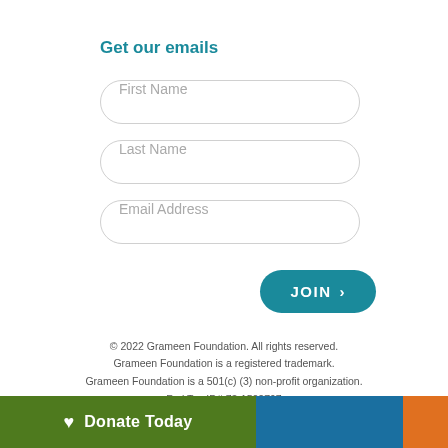Get our emails
[Figure (screenshot): Web form with three input fields: First Name, Last Name, Email Address, and a teal JOIN button with right arrow]
© 2022 Grameen Foundation. All rights reserved.
Grameen Foundation is a registered trademark.
Grameen Foundation is a 501(c) (3) non-profit organization.
Fed Tax ID# 73-1502797
[Figure (infographic): Donate Today button bar at bottom: green section with heart icon and Donate Today text, blue section, orange section]